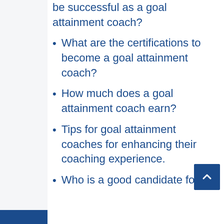be successful as a goal attainment coach?
What are the certifications to become a goal attainment coach?
How much does a goal attainment coach earn?
Tips for goal attainment coaches for enhancing their coaching experience.
Who is a good candidate for